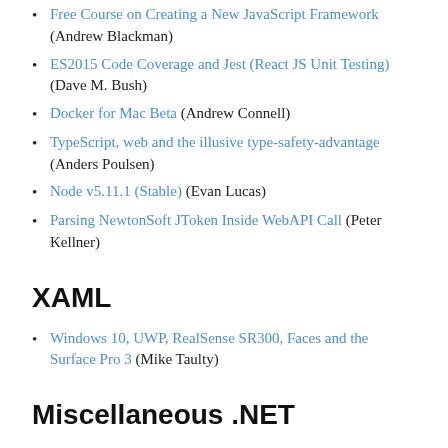Free Course on Creating a New JavaScript Framework (Andrew Blackman)
ES2015 Code Coverage and Jest (React JS Unit Testing) (Dave M. Bush)
Docker for Mac Beta (Andrew Connell)
TypeScript, web and the illusive type-safety-advantage (Anders Poulsen)
Node v5.11.1 (Stable) (Evan Lucas)
Parsing NewtonSoft JToken Inside WebAPI Call (Peter Kellner)
XAML
Windows 10, UWP, RealSense SR300, Faces and the Surface Pro 3 (Mike Taulty)
Miscellaneous .NET
Disable ReSharper's inconsistent naming evaluation for an entire file (Keith Burnell)